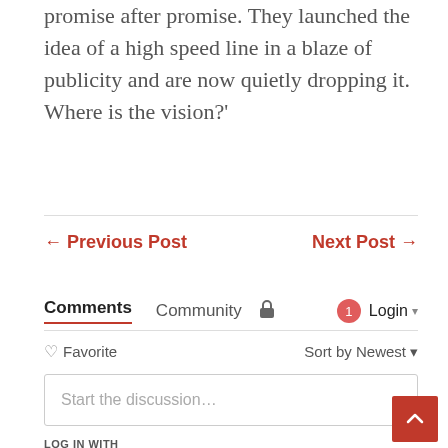promise after promise. They launched the idea of a high speed line in a blaze of publicity and are now quietly dropping it. Where is the vision?'
← Previous Post    Next Post →
Comments  Community  🔒   1  Login ▾
♡ Favorite    Sort by Newest ▾
Start the discussion...
LOG IN WITH